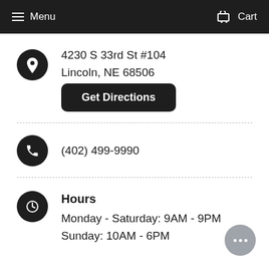Menu  Cart
4230 S 33rd St #104
Lincoln, NE 68506
Get Directions
(402) 499-9990
Hours
Monday - Saturday: 9AM - 9PM
Sunday: 10AM - 6PM